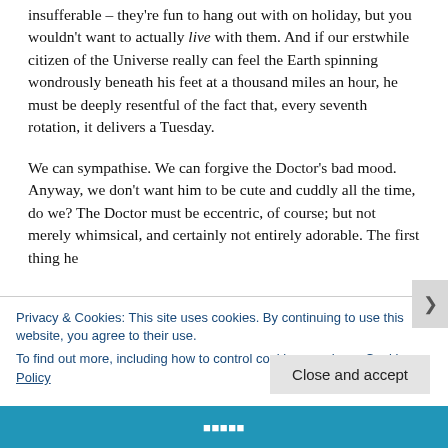insufferable – they're fun to hang out with on holiday, but you wouldn't want to actually live with them. And if our erstwhile citizen of the Universe really can feel the Earth spinning wondrously beneath his feet at a thousand miles an hour, he must be deeply resentful of the fact that, every seventh rotation, it delivers a Tuesday.
We can sympathise. We can forgive the Doctor's bad mood. Anyway, we don't want him to be cute and cuddly all the time, do we? The Doctor must be eccentric, of course; but not merely whimsical, and certainly not entirely adorable. The first thing he
Privacy & Cookies: This site uses cookies. By continuing to use this website, you agree to their use.
To find out more, including how to control cookies, see here: Cookie Policy
Close and accept